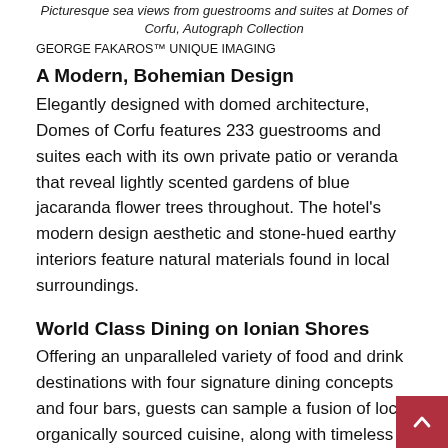Picturesque sea views from guestrooms and suites at Domes of Corfu, Autograph Collection
GEORGE FAKAROS™ UNIQUE IMAGING
A Modern, Bohemian Design
Elegantly designed with domed architecture, Domes of Corfu features 233 guestrooms and suites each with its own private patio or veranda that reveal lightly scented gardens of blue jacaranda flower trees throughout. The hotel's modern design aesthetic and stone-hued earthy interiors feature natural materials found in local surroundings.
World Class Dining on Ionian Shores
Offering an unparalleled variety of food and drink destinations with four signature dining concepts and four bars, guests can sample a fusion of local organically sourced cuisine, along with timeless international dishes. The hotel's largest restaurant,